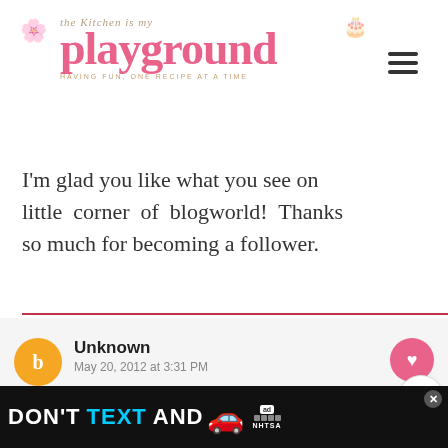the kitchen is my playground
I'm glad you like what you see on little corner of blogworld! Thanks so much for becoming a follower.
Unknown
May 20, 2012 at 3:31 PM
This is the cutest thing EVER!! I LOVE IT!! So glad that I found your si... Laugh. Rowe. - now I'm following and will
[Figure (screenshot): Ad banner: DON'T TEXT AND [car emoji] with NHTSA branding]